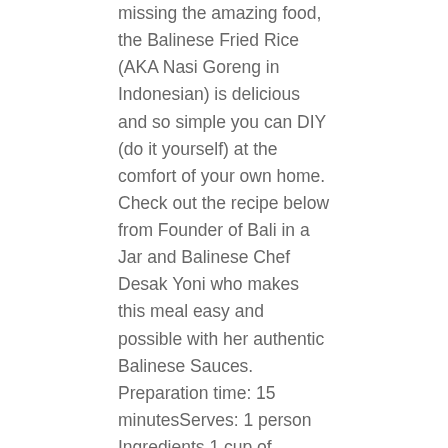missing the amazing food, the Balinese Fried Rice (AKA Nasi Goreng in Indonesian) is delicious and so simple you can DIY (do it yourself) at the comfort of your own home. Check out the recipe below from Founder of Bali in a Jar and Balinese Chef Desak Yoni who makes this meal easy and possible with her authentic Balinese Sauces. Preparation time: 15 minutesServes: 1 person Ingredients 1 cup of cooked rice 1 tsp of Bali In A Jar Chilli Paste 1 tsp of vegetable oil 1 cup of vegetables of...
Read more
Bali, Indonesian, Spicy - July 27, 2020
Spicy Balinese Curry Egg